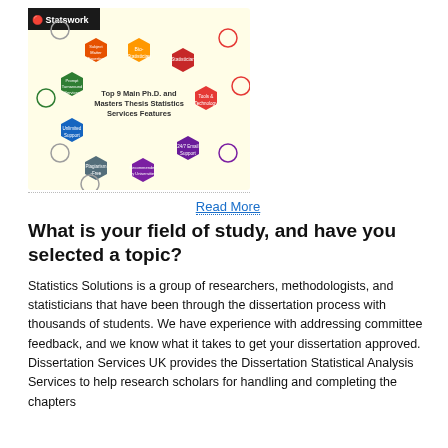[Figure (infographic): Statswork branded infographic showing Top 9 Main Ph.D. and Masters Thesis Statistics Services Features, with hexagonal shapes in various colors (orange, green, red, blue, purple, yellow) arranged in a circular pattern around central text, with icons for each feature: Subject Matter Expertise, Bio-Statistician, Statistician, Tools & Technology, 24/7 Email Support, Recommended by Universities, Plagiarism-Free, Unlimited Support, Prompt Turnaround Services. Yellow background, Statswork logo in top-left corner.]
Read More
What is your field of study, and have you selected a topic?
Statistics Solutions is a group of researchers, methodologists, and statisticians that have been through the dissertation process with thousands of students. We have experience with addressing committee feedback, and we know what it takes to get your dissertation approved. Dissertation Services UK provides the Dissertation Statistical Analysis Services to help research scholars for handling and completing the chapters